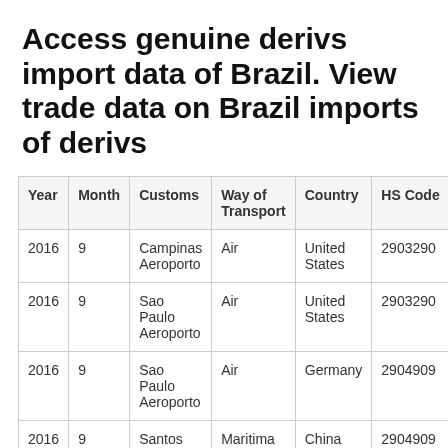Access genuine derivs import data of Brazil. View trade data on Brazil imports of derivs
| Year | Month | Customs | Way of Transport | Country | HS Code |
| --- | --- | --- | --- | --- | --- |
| 2016 | 9 | Campinas Aeroporto | Air | United States | 2903290 |
| 2016 | 9 | Sao Paulo Aeroporto | Air | United States | 2903290 |
| 2016 | 9 | Sao Paulo Aeroporto | Air | Germany | 2904909 |
| 2016 | 9 | Santos | Maritima | China | 2904909 |
| 2016 | 9 | Sao Paulo... | Air | China | 290490... |